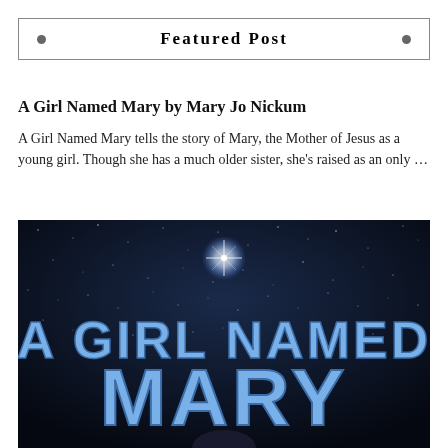Featured Post
A Girl Named Mary by Mary Jo Nickum
A Girl Named Mary tells the story of Mary, the Mother of Jesus as a young girl. Though she has a much older sister, she’s raised as an only …
[Figure (photo): Book cover image with a dark starry night sky background and large blue stylized text reading 'A GIRL NAMED MARY']